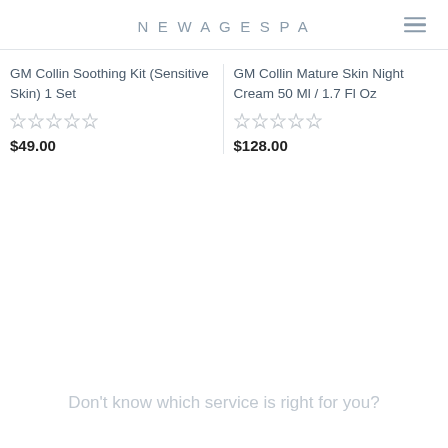NEWAGESPA
GM Collin Soothing Kit (Sensitive Skin) 1 Set
$49.00
GM Collin Mature Skin Night Cream 50 Ml / 1.7 Fl Oz
$128.00
Don't know which service is right for you?